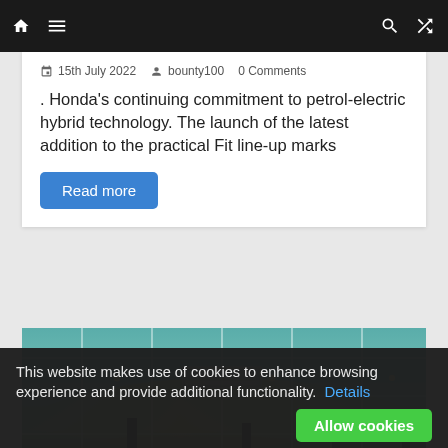Navigation bar with home, menu, search, and shuffle icons
15th July 2022   bounty100   0 Comments
. Honda's continuing commitment to petrol-electric hybrid technology. The launch of the latest addition to the practical Fit line-up marks
Read more
[Figure (photo): Interior ceiling view of a large hall or parking structure with tiled ceiling panels and recessed lighting; warm orange sunset glow visible in background]
This website makes use of cookies to enhance browsing experience and provide additional functionality.  Details   Allow cookies